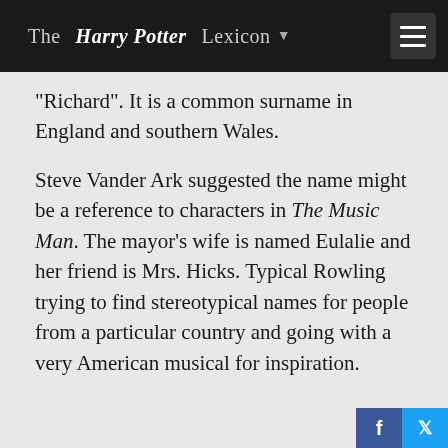The Harry Potter Lexicon
"Richard". It is a common surname in England and southern Wales.
Steve Vander Ark suggested the name might be a reference to characters in The Music Man. The mayor's wife is named Eulalie and her friend is Mrs. Hicks. Typical Rowling trying to find stereotypical names for people from a particular country and going with a very American musical for inspiration.